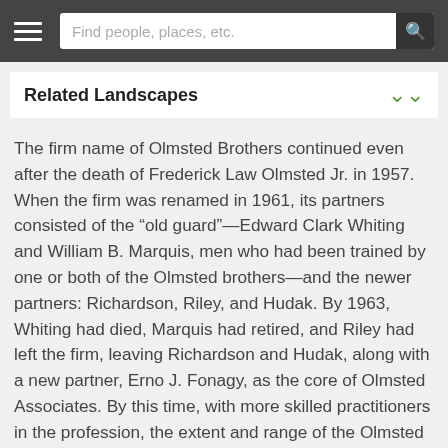Find people, places, etc.
Related Landscapes
The firm name of Olmsted Brothers continued even after the death of Frederick Law Olmsted Jr. in 1957. When the firm was renamed in 1961, its partners consisted of the “old guard”—Edward Clark Whiting and William B. Marquis, men who had been trained by one or both of the Olmsted brothers—and the newer partners: Richardson, Riley, and Hudak. By 1963, Whiting had died, Marquis had retired, and Riley had left the firm, leaving Richardson and Hudak, along with a new partner, Erno J. Fonagy, as the core of Olmsted Associates. By this time, with more skilled practitioners in the profession, the extent and range of the Olmsted firm’s practice had greatly changed. While they were still involved in the design for several corporate headquarters, land subdivisions, and some private properties, and